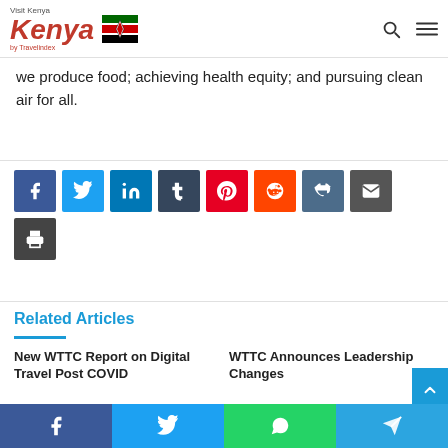Visit Kenya by Travelindex
we produce food; achieving health equity; and pursuing clean air for all.
[Figure (infographic): Social media share buttons: Facebook, Twitter, LinkedIn, Tumblr, Pinterest, Reddit, VK, Email, Print]
Related Articles
New WTTC Report on Digital Travel Post COVID
WTTC Announces Leadership Changes
[Figure (infographic): Bottom sharing bar with Facebook, Twitter, WhatsApp, and Telegram buttons]